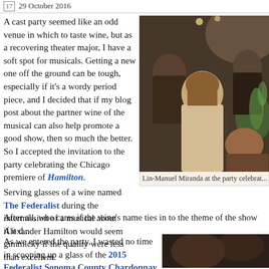17  29 October 2016
A cast party seemed like an odd venue in which to taste wine, but as a recovering theater major, I have a soft spot for musicals. Getting a new one off the ground can be tough, especially if it's a wordy period piece, and I decided that if my blog post about the partner wine of the musical can also help promote a good show, then so much the better. So I accepted the invitation to the party celebrating the Chicago premiere of Hamilton.
[Figure (photo): Party scene photo showing people at a gathering, a woman in a cream sweater in the foreground]
Lin-Manuel Miranda at the party celebrat...
Serving glasses of a wine named The Federalist during the intermission of a musical about Alexander Hamilton would seem gimmicky if the quality were less than excellent. After all, who cares if the wine's name ties in to the theme of the show if it d...
As we entered the party, I wasted no time in scooping up a glass of the 2015 Federalist Sonoma County Chardonnay. In general, Sonoma has a cooler climate than Napa, because the...